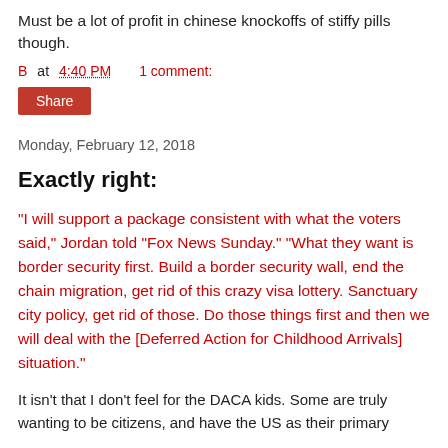Must be a lot of profit in chinese knockoffs of stiffy pills though.
B at 4:40 PM    1 comment:
Share
Monday, February 12, 2018
Exactly right:
"I will support a package consistent with what the voters said," Jordan told "Fox News Sunday." "What they want is border security first. Build a border security wall, end the chain migration, get rid of this crazy visa lottery. Sanctuary city policy, get rid of those. Do those things first and then we will deal with the [Deferred Action for Childhood Arrivals] situation."
It isn't that I don't feel for the DACA kids. Some are truly wanting to be citizens, and have the US as their primary